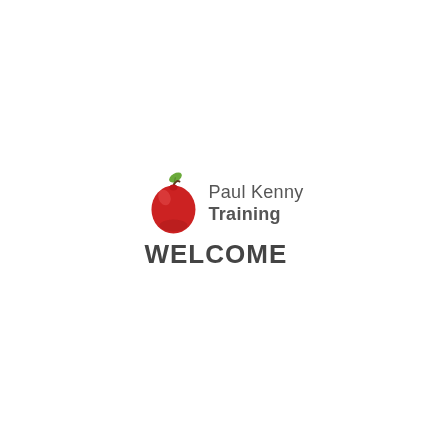[Figure (logo): Paul Kenny Training logo: a red apple with a green leaf on the left, next to the text 'Paul Kenny Training' in grey, with 'WELCOME' in bold dark grey below spanning the full width of the logo group.]